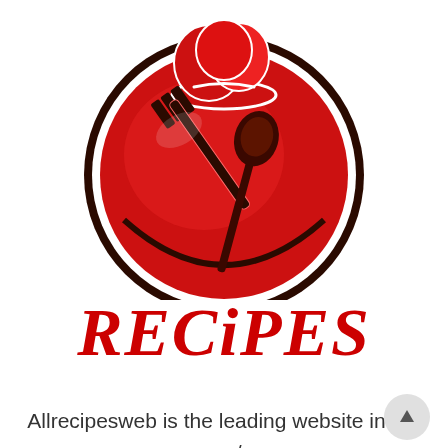[Figure (logo): Red circular plate logo with chef hat on top, fork and spoon crossed on the plate, dark brown outline, red and dark red color scheme]
RECiPES
Allrecipesweb is the leading website in the c… that shares different kinds of delicious recipes in